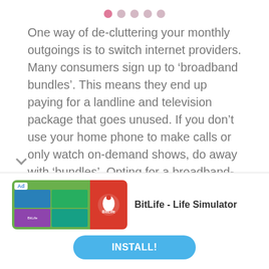• • • • •
One way of de-cluttering your monthly outgoings is to switch internet providers. Many consumers sign up to ‘broadband bundles’. This means they end up paying for a landline and television package that goes unused. If you don’t use your home phone to make calls or only watch on-demand shows, do away with ‘bundles’. Opting for a broadband-only package can help de-clutter your bills and save you money.
Many consumers are put off switching internet providers. The thought of being without internet weeks on end and missing out on significant
[Figure (screenshot): App advertisement banner for BitLife - Life Simulator showing app icon images and an INSTALL! button]